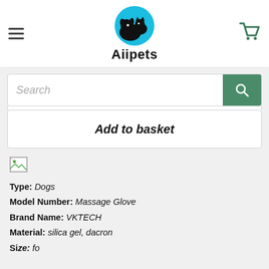Aiipets
Search
Add to basket
[Figure (illustration): Broken image icon placeholder]
Type: Dogs
Model Number: Massage Glove
Brand Name: VKTECH
Material: silica gel, dacron
Size: (partially visible)